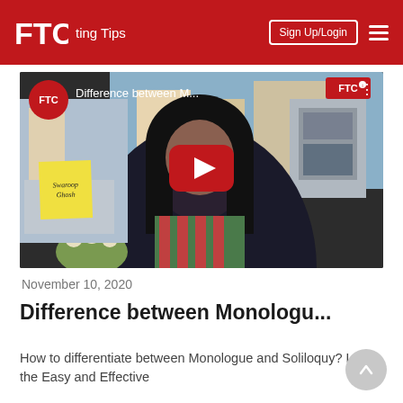FTC — Acting Tips | Sign Up/Login
[Figure (screenshot): YouTube video thumbnail showing a woman with glasses and long dark hair sitting at a desk. A yellow sticky note reads 'Swaroop Ghosh'. The video title bar shows 'Difference between M...' and there is a red YouTube play button in the center. A red FTC logo circle is in the top-left, and an FTC badge in the top-right of the video.]
November 10, 2020
Difference between Monologu...
How to differentiate between Monologue and Soliloquy? Learn the Easy and Effective
FTC Studioz